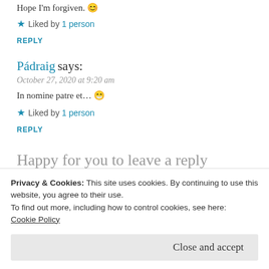Hope I'm forgiven. 😊
★ Liked by 1 person
REPLY
Pádraig says:
October 27, 2020 at 9:20 am
In nomine patre et… 😁
★ Liked by 1 person
REPLY
Happy for you to leave a reply
Privacy & Cookies: This site uses cookies. By continuing to use this website, you agree to their use.
To find out more, including how to control cookies, see here:
Cookie Policy
Close and accept